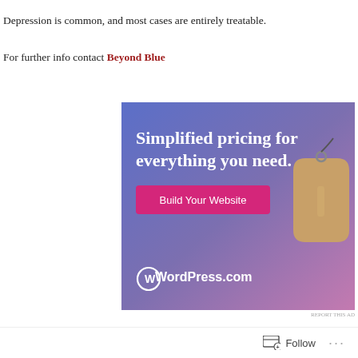Depression is common, and most cases are entirely treatable.
For further info contact Beyond Blue
Advertisements
[Figure (screenshot): WordPress.com advertisement: 'Simplified pricing for everything you need.' with a Build Your Website button and a price tag graphic.]
REPORT THIS AD
Share this:
[Figure (other): Social share icons row (Twitter/X, Facebook, LinkedIn, and others)]
Follow ...